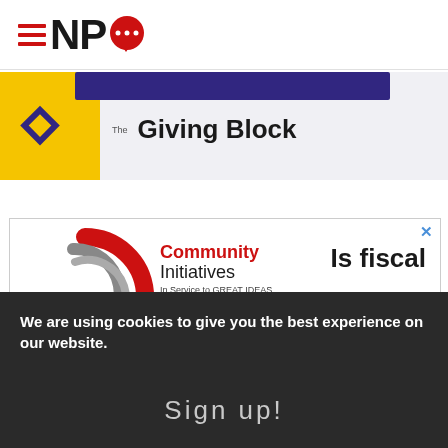NPQ logo with hamburger menu
[Figure (logo): The Giving Block advertisement banner with yellow background, purple bar, diamond logo, and 'The Giving Block' text]
[Figure (logo): Community Initiatives advertisement - circular red/gray logo with 'Community Initiatives In Service to GREAT IDEAS' and 'Is fiscal sponsorship' text partially visible]
We are using cookies to give you the best experience on our website.
Sign up!